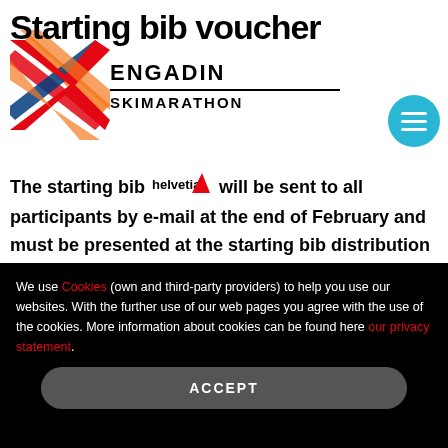Starting bib voucher
[Figure (logo): Engadin Skimarathon logo with colorful X pattern and text ENGADIN SKIMARATHON]
The starting bib voucher will be sent to all participants by e-mail at the end of February and must be presented at the starting bib distribution (on mobile phone or physically). The starting bib voucher can also be accessed via the personal Datasport login at www.datasport.com/myDS. It is important that a current e-mail address was provided during online registration.
We use Cookies (own and third-party providers) to help you use our websites. With the further use of our web pages you agree with the use of the cookies. More information about cookies can be found here our privacy statement.
ACCEPT